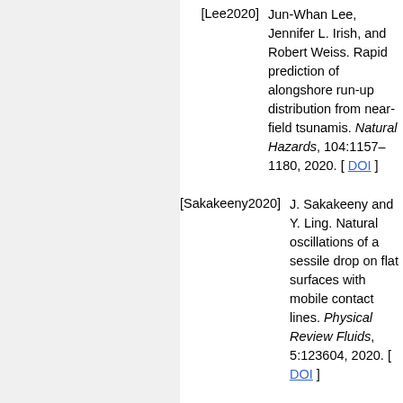[Lee2020] Jun-Whan Lee, Jennifer L. Irish, and Robert Weiss. Rapid prediction of alongshore run-up distribution from near-field tsunamis. Natural Hazards, 104:1157–1180, 2020. [ DOI ]
[Sakakeeny2020] J. Sakakeeny and Y. Ling. Natural oscillations of a sessile drop on flat surfaces with mobile contact lines. Physical Review Fluids, 5:123604, 2020. [ DOI ]